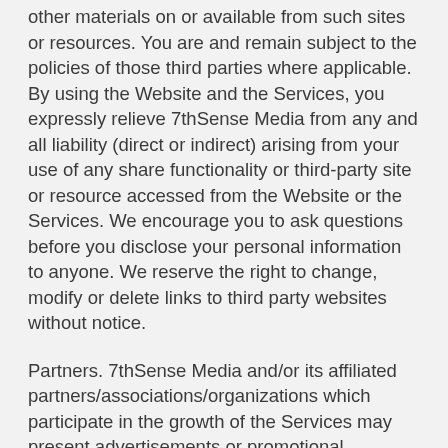other materials on or available from such sites or resources. You are and remain subject to the policies of those third parties where applicable. By using the Website and the Services, you expressly relieve 7thSense Media from any and all liability (direct or indirect) arising from your use of any share functionality or third-party site or resource accessed from the Website or the Services. We encourage you to ask questions before you disclose your personal information to anyone. We reserve the right to change, modify or delete links to third party websites without notice.
Partners. 7thSense Media and/or its affiliated partners/associations/organizations which participate in the growth of the Services may present advertisements or promotional materials on or through the Website. Your dealings with, or participation in promotions of, any third-party advertisers on or through the Website are solely between you and such third party and your participation is subject to the terms and conditions associated with that advertisement or